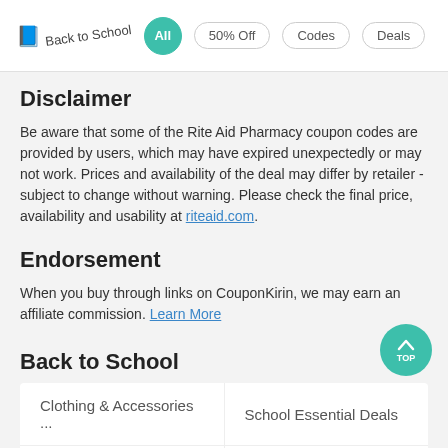Back to School | All | 50% Off | Codes | Deals
Disclaimer
Be aware that some of the Rite Aid Pharmacy coupon codes are provided by users, which may have expired unexpectedly or may not work. Prices and availability of the deal may differ by retailer - subject to change without warning. Please check the final price, availability and usability at riteaid.com.
Endorsement
When you buy through links on CouponKirin, we may earn an affiliate commission. Learn More
Back to School
| Clothing & Accessories ... | School Essential Deals |
| Dorm Essential Deals | Laptop Deals |